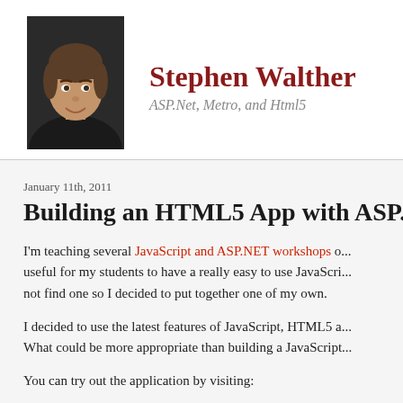[Figure (photo): Headshot photo of Stephen Walther, a man with brown hair wearing a black shirt, smiling]
Stephen Walther
ASP.Net, Metro, and Html5
January 11th, 2011
Building an HTML5 App with ASP.NE
I'm teaching several JavaScript and ASP.NET workshops o... useful for my students to have a really easy to use JavaScri... not find one so I decided to put together one of my own.
I decided to use the latest features of JavaScript, HTML5 a... What could be more appropriate than building a JavaScript...
You can try out the application by visiting: